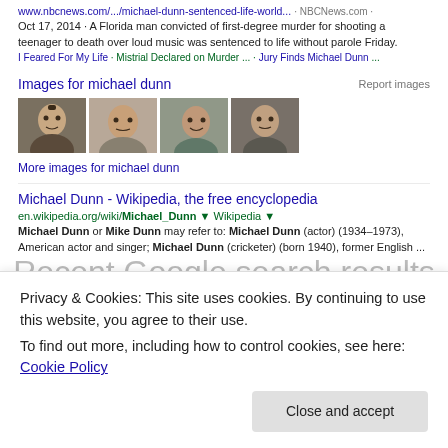www.nbcnews.com/.../michael-dunn-sentenced-life-world... · NBCNews.com · Oct 17, 2014 · A Florida man convicted of first-degree murder for shooting a teenager to death over loud music was sentenced to life without parole Friday.
I Feared For My Life · Mistrial Declared on Murder ... · Jury Finds Michael Dunn ...
Images for michael dunn
Report images
[Figure (photo): Four photographs of Michael Dunn side by side]
More images for michael dunn
Michael Dunn - Wikipedia, the free encyclopedia
en.wikipedia.org/wiki/Michael_Dunn · Wikipedia · Michael Dunn or Mike Dunn may refer to: Michael Dunn (actor) (1934–1973), American actor and singer; Michael Dunn (cricketer) (born 1940), former English ...
Recent Google search results for "Michael Dunn"
Privacy & Cookies: This site uses cookies. By continuing to use this website, you agree to their use.
To find out more, including how to control cookies, see here: Cookie Policy
Close and accept